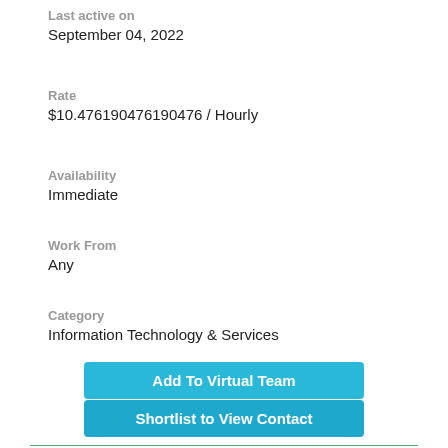Last active on
September 04, 2022
Rate
$10.476190476190476 / Hourly
Availability
Immediate
Work From
Any
Category
Information Technology & Services
Add To Virtual Team
Shortlist to View Contact
Deployed: 30+ Days ago
Shortlisted: 15